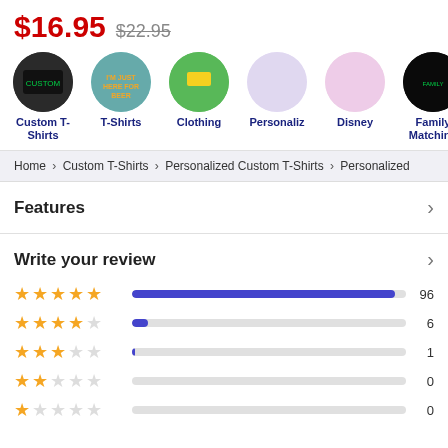$16.95  $22.95
[Figure (screenshot): Horizontal scrollable category row with circular images: Custom T-Shirts, T-Shirts, Clothing, Personaliz, Disney, Family Matching, Ch...]
Home > Custom T-Shirts > Personalized Custom T-Shirts > Personalized...
Features
Write your review
[Figure (bar-chart): Rating distribution]